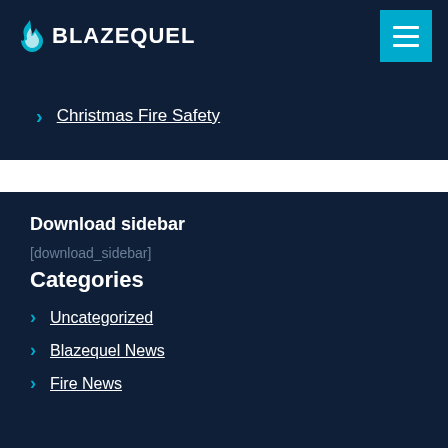BLAZEQUEL
Christmas Fire Safety
Download sidebar
[download_sidebar]
Categories
Uncategorized
Blazequel News
Fire News